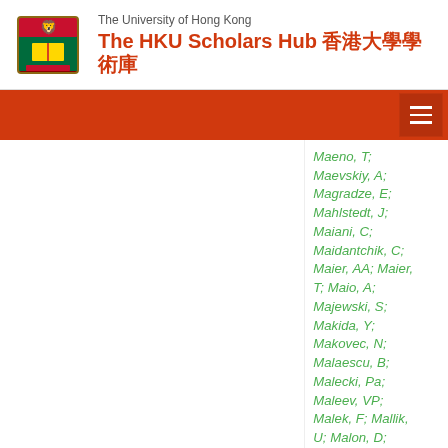The University of Hong Kong — The HKU Scholars Hub 香港大學學術庫
Maeno, T;
Maevskiy, A;
Magradze, E;
Mahlstedt, J;
Maiani, C;
Maidantchik, C;
Maier, AA; Maier, T; Maio, A;
Majewski, S;
Makida, Y;
Makovec, N;
Malaescu, B;
Malecki, Pa;
Maleev, VP;
Malek, F; Mallik, U; Malon, D;
Malone, C;